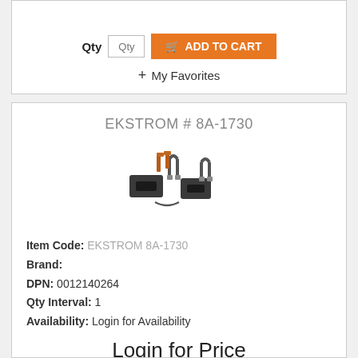Qty [Qty] ADD TO CART
+ My Favorites
EKSTROM # 8A-1730
[Figure (photo): Product photo showing U-bolt clamp hardware kit including black metal clamps and bolts.]
Item Code: EKSTROM 8A-1730
Brand:
DPN: 0012140264
Qty Interval: 1
Availability: Login for Availability
Login for Price
Qty [Qty] ADD TO CART
+ My Favorites